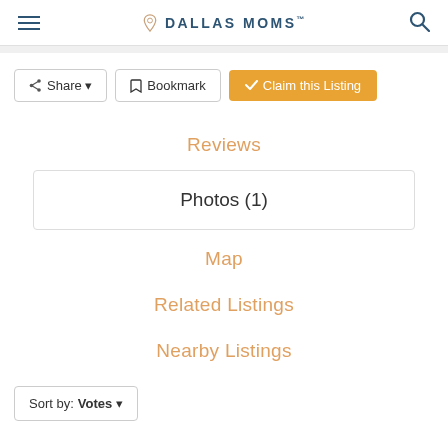DALLAS MOMS
Share | Bookmark | Claim this Listing
Reviews
Photos (1)
Map
Related Listings
Nearby Listings
Sort by: Votes